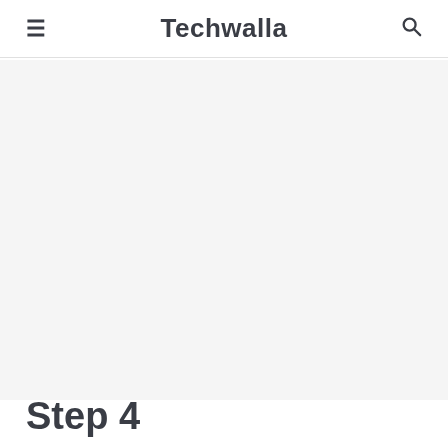≡  Techwalla  🔍
[Figure (other): Light gray rectangular content/advertisement area below the header]
Step 4